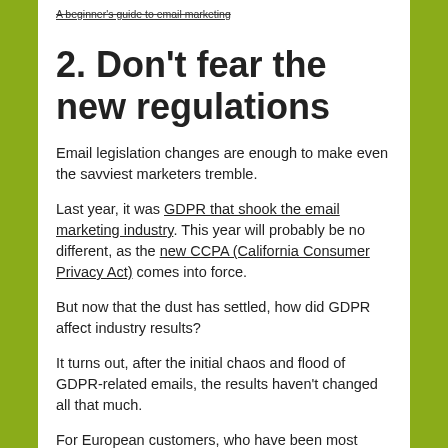A beginner's guide to email marketing
2. Don't fear the new regulations
Email legislation changes are enough to make even the savviest marketers tremble.
Last year, it was GDPR that shook the email marketing industry. This year will probably be no different, as the new CCPA (California Consumer Privacy Act) comes into force.
But now that the dust has settled, how did GDPR affect industry results?
It turns out, after the initial chaos and flood of GDPR-related emails, the results haven't changed all that much.
For European customers, who have been most affected,